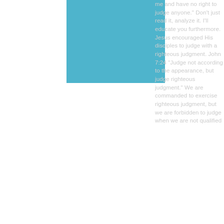[Figure (illustration): Blue/teal colored rectangular block in the upper-left area of the content region]
me and have no right to judge anyone." Don't just read it, analyze it. I'll educate you furthermore. Jesus encouraged His disciples to judge with a righteous judgment. John 7:24 "Judge not according to the appearance, but judge righteous judgment." We are commanded to exercise righteous judgment, but we are forbidden to judge when we are not qualified